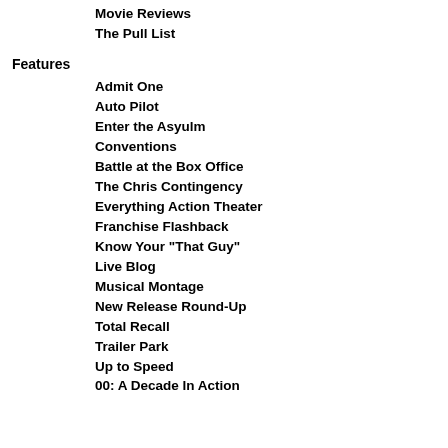Movie Reviews
The Pull List
Features
Admit One
Auto Pilot
Enter the Asyulm
Conventions
Battle at the Box Office
The Chris Contingency
Everything Action Theater
Franchise Flashback
Know Your "That Guy"
Live Blog
Musical Montage
New Release Round-Up
Total Recall
Trailer Park
Up to Speed
00: A Decade In Action